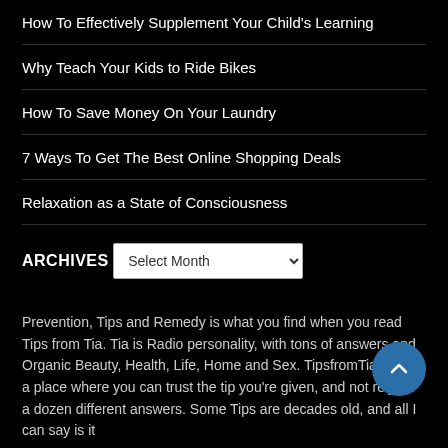How To Effectively Supplement Your Child's Learning
Why Teach Your Kids to Ride Bikes
How To Save Money On Your Laundry
7 Ways To Get The Best Online Shopping Deals
Relaxation as a State of Consciousness
ARCHIVES
Prevention, Tips and Remedy is what you find when you read Tips from Tia. Tia is Radio personality, with tons of answers and Organic Beauty, Health, Life, Home and Sex. TipsfromTia.com is a place where you can trust the tip you're given, and not rely on a dozen different answers. Some Tips are decades old, and all I can say is it